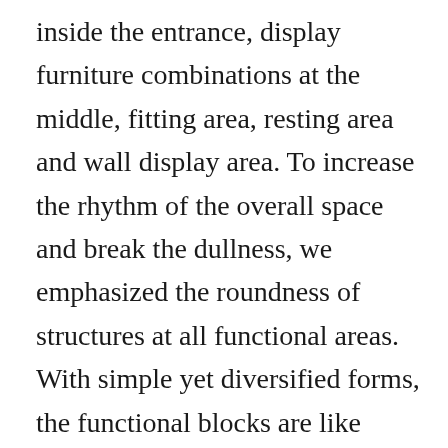inside the entrance, display furniture combinations at the middle, fitting area, resting area and wall display area. To increase the rhythm of the overall space and break the dullness, we emphasized the roundness of structures at all functional areas. With simple yet diversified forms, the functional blocks are like freely moving “points” in the space that encounter with customers. Through combining a variety of materials, we hoped to redefine the apparel store and break the constraints of scenes.